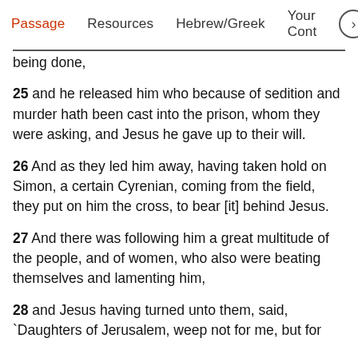Passage   Resources   Hebrew/Greek   Your Cont >
being done,
25 and he released him who because of sedition and murder hath been cast into the prison, whom they were asking, and Jesus he gave up to their will.
26 And as they led him away, having taken hold on Simon, a certain Cyrenian, coming from the field, they put on him the cross, to bear [it] behind Jesus.
27 And there was following him a great multitude of the people, and of women, who also were beating themselves and lamenting him,
28 and Jesus having turned unto them, said, `Daughters of Jerusalem, weep not for me, but for